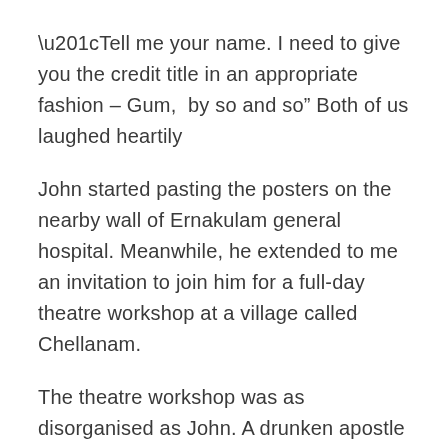“Tell me your name. I need to give you the credit title in an appropriate fashion – Gum,  by so and so” Both of us laughed heartily
John started pasting the posters on the nearby wall of Ernakulam general hospital. Meanwhile, he extended to me an invitation to join him for a full-day theatre workshop at a village called Chellanam.
The theatre workshop was as disorganised as John. A drunken apostle surrounded by indisciplined disciples at a celebration of anarchy. The daily chores of the villagers seemed to be the basic agenda on which revolved their candid conversations until Neelan came in. Neelan was bringing out a little